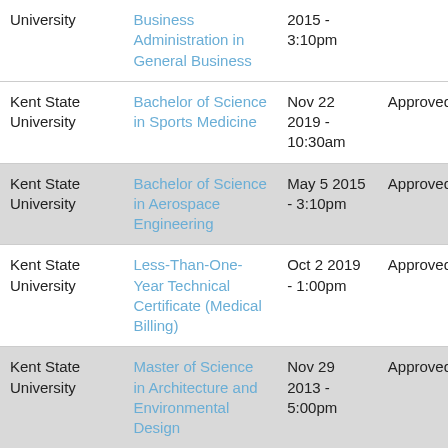| Institution | Program | Date | Status |
| --- | --- | --- | --- |
| Kent State University | Business Administration in General Business | 2015 - 3:10pm |  |
| Kent State University | Bachelor of Science in Sports Medicine | Nov 22 2019 - 10:30am | Approved |
| Kent State University | Bachelor of Science in Aerospace Engineering | May 5 2015 - 3:10pm | Approved |
| Kent State University | Less-Than-One-Year Technical Certificate (Medical Billing) | Oct 2 2019 - 1:00pm | Approved |
| Kent State University | Master of Science in Architecture and Environmental Design | Nov 29 2013 - 5:00pm | Approved |